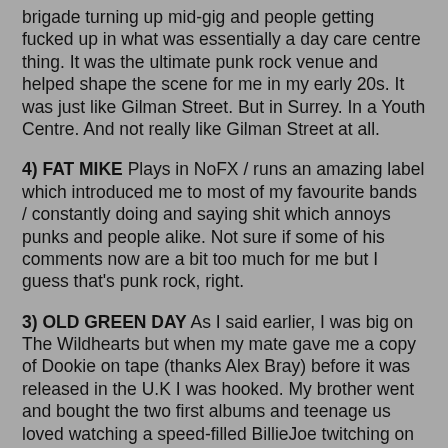brigade turning up mid-gig and people getting fucked up in what was essentially a day care centre thing. It was the ultimate punk rock venue and helped shape the scene for me in my early 20s. It was just like Gilman Street. But in Surrey. In a Youth Centre. And not really like Gilman Street at all.
4) FAT MIKE Plays in NoFX / runs an amazing label which introduced me to most of my favourite bands / constantly doing and saying shit which annoys punks and people alike. Not sure if some of his comments now are a bit too much for me but I guess that's punk rock, right.
3) OLD GREEN DAY As I said earlier, I was big on The Wildhearts but when my mate gave me a copy of Dookie on tape (thanks Alex Bray) before it was released in the U.K I was hooked. My brother went and bought the two first albums and teenage us loved watching a speed-filled BillieJoe twitching on TOTP. It's a bit different now isn't it.
2) FRENZAL RHOMB Frenzal were the first punk band that wrote really fast songs that were stupidly catchy but who